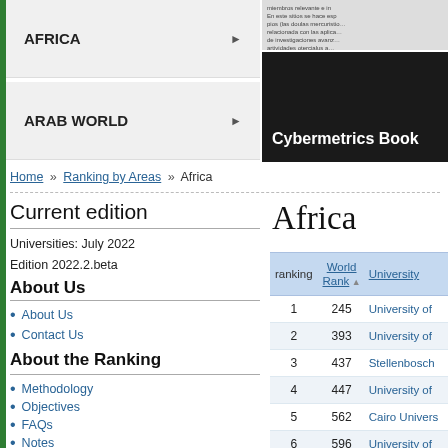AFRICA
ARAB WORLD
[Figure (screenshot): Cybermetrics Book panel - dark background with title 'Cybermetrics Book' and overlay text]
Home » Ranking by Areas » Africa
Current edition
Universities: July 2022
Edition 2022.2.beta
About Us
About Us
Contact Us
About the Ranking
Methodology
Objectives
FAQs
Notes
Previous editions
Africa
| ranking | World Rank | University |
| --- | --- | --- |
| 1 | 245 | University of… |
| 2 | 393 | University of… |
| 3 | 437 | Stellenbosch… |
| 4 | 447 | University of… |
| 5 | 562 | Cairo Univers… |
| 6 | 596 | University of… |
| 7 | 660 | Alexandria U… |